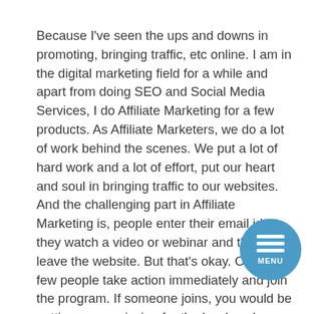Because I've seen the ups and downs in promoting, bringing traffic, etc online. I am in the digital marketing field for a while and apart from doing SEO and Social Media Services, I do Affiliate Marketing for a few products. As Affiliate Marketers, we do a lot of work behind the scenes. We put a lot of hard work and a lot of effort, put our heart and soul in bringing traffic to our websites. And the challenging part in Affiliate Marketing is, people enter their email id, they watch a video or webinar and they leave the website. But that's okay. Only a few people take action immediately and join the program. If someone joins, you would be getting a commission for the hard work being done but most of the time, people wouldn't be taking action immediately. As we all know not everyone in this world would be joining any programs
[Figure (other): Circular menu button with three horizontal lines (hamburger icon) and the word MENU below, in teal/blue color]